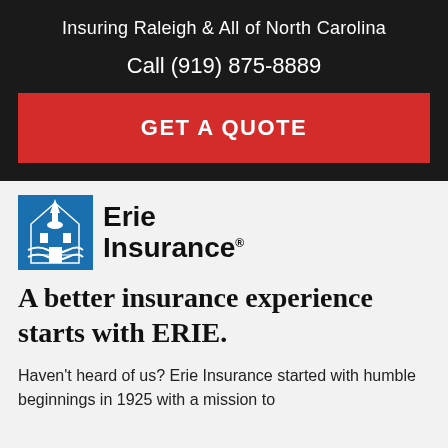Insuring Raleigh & All of North Carolina
Call (919) 875-8889
GET A QUOTE
[Figure (logo): Erie Insurance logo with blue building icon and company name]
A better insurance experience starts with ERIE.
Haven't heard of us? Erie Insurance started with humble beginnings in 1925 with a mission to